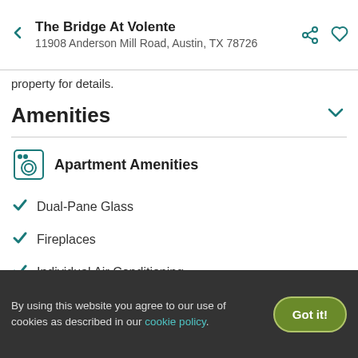The Bridge At Volente
11908 Anderson Mill Road, Austin, TX 78726
property for details.
Amenities
Apartment Amenities
Dual-Pane Glass
Fireplaces
Individual Air Conditioning
Microwave
View all apartment amenities
By using this website you agree to our use of cookies as described in our cookie policy.